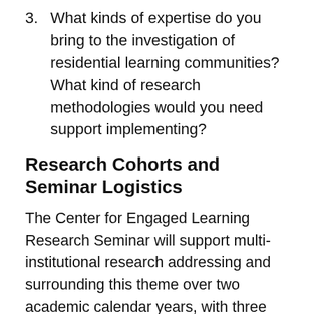3. What kinds of expertise do you bring to the investigation of residential learning communities? What kind of research methodologies would you need support implementing?
Research Cohorts and Seminar Logistics
The Center for Engaged Learning Research Seminar will support multi-institutional research addressing and surrounding this theme over two academic calendar years, with three one-week summer meetings on the Elon University campus. Participants will collaborate on active research over the entire period. These multi-institutional collaborations will enable larger